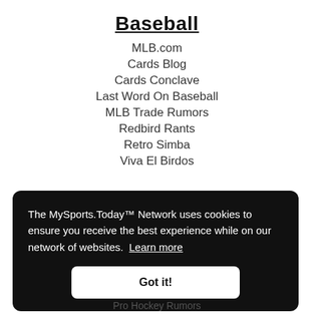Baseball
MLB.com
Cards Blog
Cards Conclave
Last Word On Baseball
MLB Trade Rumors
Redbird Rants
Retro Simba
Viva El Birdos
The MySports.Today™ Network uses cookies to ensure you receive the best experience while on our network of websites. Learn more
Got it!
Pro Hockey Rumors